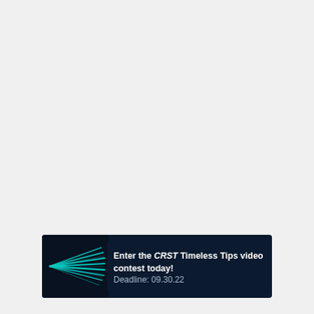[Figure (infographic): Dark navy banner advertisement for CRST Timeless Tips video contest. Left side shows abstract speed lines graphic in teal/cyan on dark background. Right side shows white bold text: 'Enter the CRST Timeless Tips video contest today!' followed by lighter text 'Deadline: 09.30.22']